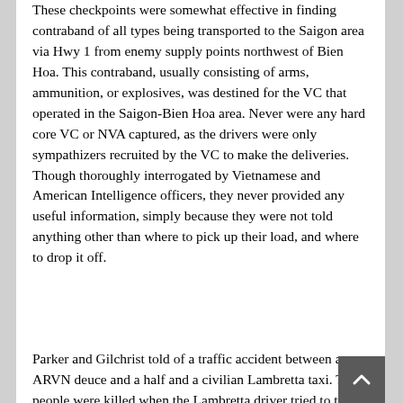These checkpoints were somewhat effective in finding contraband of all types being transported to the Saigon area via Hwy 1 from enemy supply points northwest of Bien Hoa. This contraband, usually consisting of arms, ammunition, or explosives, was destined for the VC that operated in the Saigon-Bien Hoa area. Never were any hard core VC or NVA captured, as the drivers were only sympathizers recruited by the VC to make the deliveries. Though thoroughly interrogated by Vietnamese and American Intelligence officers, they never provided any useful information, simply because they were not told anything other than where to pick up their load, and where to drop it off.
Parker and Gilchrist told of a traffic accident between an ARVN deuce and a half and a civilian Lambretta taxi. Three people were killed when the Lambretta driver tried to turn left in front of the truck, and was struck broadside. Two women and an old man were killed, and the driver slightly injured when he was thrown clear by the collision. Parker said they waited